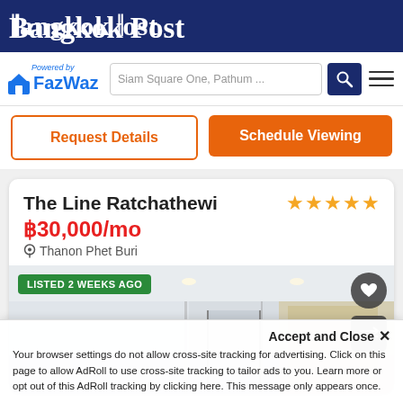Bangkok Post
[Figure (logo): FazWaz logo with house icon and 'Powered by FazWaz' text in blue, next to search bar reading 'Siam Square One, Pathum ...' and a dark blue search button with magnifying glass icon, and a hamburger menu icon]
Request Details
Schedule Viewing
The Line Ratchathewi
★★★★★
฿30,000/mo
Thanon Phet Buri
[Figure (photo): Interior photo of a modern apartment corridor/hallway with white walls, recessed ceiling lights, glass partitions, and wooden accent details. Green badge overlay reads 'LISTED 2 WEEKS AGO'. Dark circular heart button and square swap button on the right side.]
Accept and Close ×
Your browser settings do not allow cross-site tracking for advertising. Click on this page to allow AdRoll to use cross-site tracking to tailor ads to you. Learn more or opt out of this AdRoll tracking by clicking here. This message only appears once.